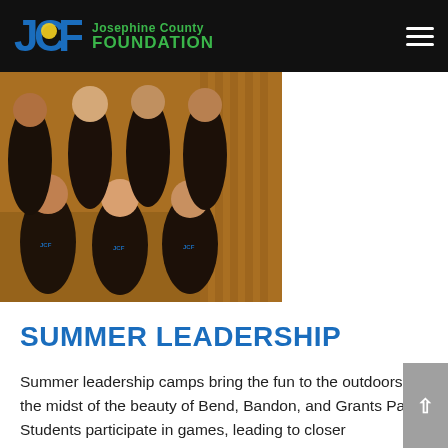JCF Josephine County FOUNDATION
[Figure (photo): Group photo of approximately 9 young people wearing matching black JCF t-shirts, posed in two rows on wooden steps/deck outdoors.]
SUMMER LEADERSHIP
Summer leadership camps bring the fun to the outdoors, in the midst of the beauty of Bend, Bandon, and Grants Pass. Students participate in games, leading to closer friendships. Students participate in scavenger hunts, leading to the excitement of the chase and victory! Students